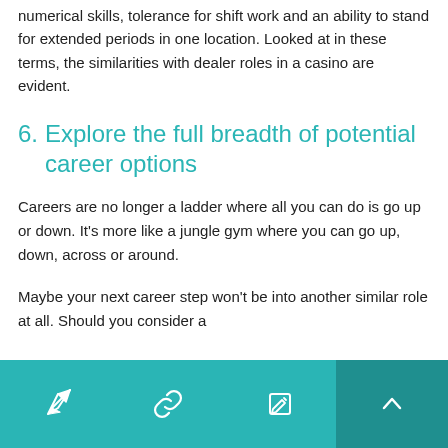numerical skills, tolerance for shift work and an ability to stand for extended periods in one location. Looked at in these terms, the similarities with dealer roles in a casino are evident.
6. Explore the full breadth of potential career options
Careers are no longer a ladder where all you can do is go up or down. It's more like a jungle gym where you can go up, down, across or around.
Maybe your next career step won't be into another similar role at all. Should you consider a
[Figure (other): Teal footer navigation bar with three icon buttons (send/share, link, edit) and a darker teal scroll-to-top button with an up chevron on the right.]